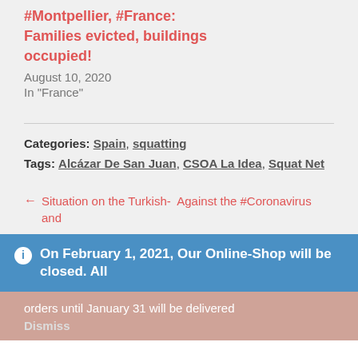#Montpellier, #France: Families evicted, buildings occupied!
August 10, 2020
In "France"
Categories: Spain, squatting
Tags: Alcázar De San Juan, CSOA La Idea, Squat Net
← Situation on the Turkish-  Against the #Coronavirus and
ⓘ On February 1, 2021, Our Online-Shop will be closed. All
orders until January 31 will be delivered
Dismiss
We use cookies to ensure that we give you the best experience on our website. If you continue to use this site we will assume that you are happy with it.
Ok